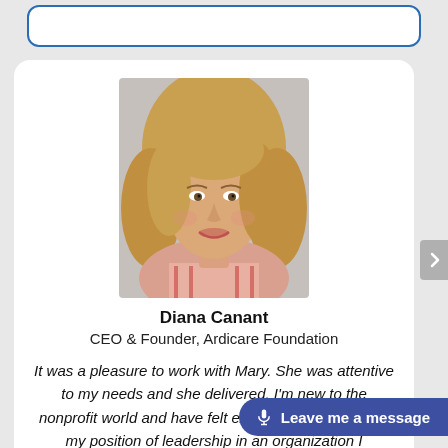[Figure (photo): Headshot photo of Diana Canant, a woman with shoulder-length blonde hair, smiling, wearing a striped top]
Diana Canant
CEO & Founder, Ardicare Foundation
It was a pleasure to work with Mary. She was attentive to my needs and she delivered. I'm new to the nonprofit world and have felt extremely challenged in my position of leadership in an organization I established. My understanding